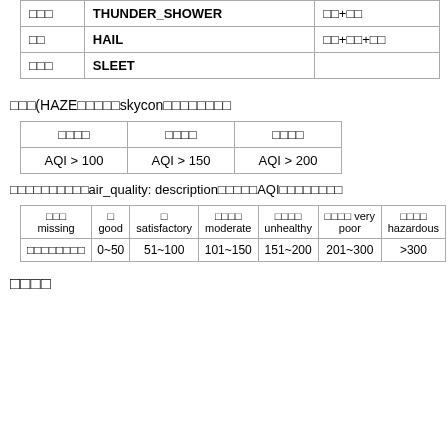| □□□ | THUNDER_SHOWER / HAIL / SLEET | □□+□□ / □□+□□+□□ |
| --- | --- | --- |
| □□□ | THUNDER_SHOWER | □□+□□ |
| □□ | HAIL | □□+□□+□□ |
| □□□ | SLEET |  |
□□□(HAZE□□□□□skycon□□□□□□□□
| □□□□ | □□□□ | □□□□ |
| --- | --- | --- |
| AQI > 100 | AQI > 150 | AQI > 200 |
□□□□□□□□□□air_quality: description□□□□□AQI□□□□□□□□
| □□□ missing | □ good | □ satisfactory | □□□□ moderate | □□□□ unhealthy | □□□□ very poor | □□□□ hazardous |
| --- | --- | --- | --- | --- | --- | --- |
| □□□□□□□□ | 0~50 | 51~100 | 101~150 | 151~200 | 201~300 | >300 |
□□□□